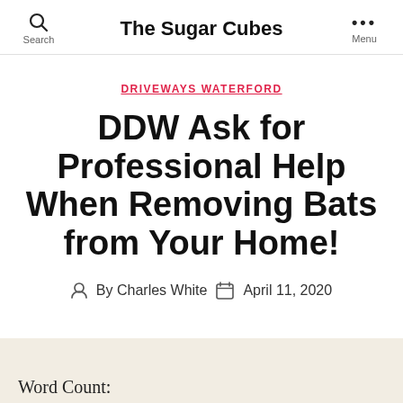The Sugar Cubes
DRIVEWAYS WATERFORD
DDW Ask for Professional Help When Removing Bats from Your Home!
By Charles White   April 11, 2020
Word Count: